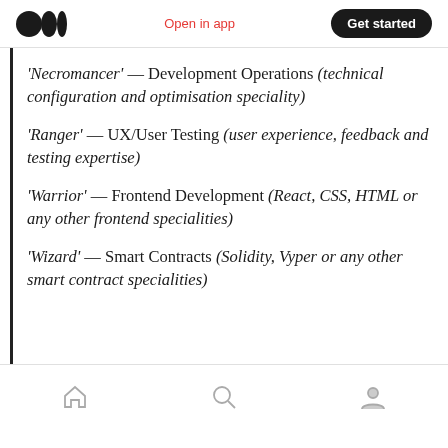Open in app  Get started
'Necromancer' — Development Operations (technical configuration and optimisation speciality)
'Ranger' — UX/User Testing (user experience, feedback and testing expertise)
'Warrior' — Frontend Development (React, CSS, HTML or any other frontend specialities)
'Wizard' — Smart Contracts (Solidity, Vyper or any other smart contract specialities)
Home  Search  Profile